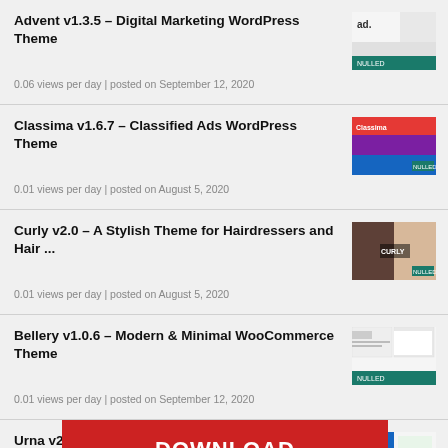Advent v1.3.5 – Digital Marketing WordPress Theme
0.06 views per day | posted on September 12, 2020
Classima v1.6.7 – Classified Ads WordPress Theme
0.01 views per day | posted on August 5, 2020
Curly v2.0 – A Stylish Theme for Hairdressers and Hair ...
0.01 views per day | posted on August 5, 2020
Bellery v1.0.6 – Modern & Minimal WooCommerce Theme
0.01 views per day | posted on September 12, 2020
[Figure (infographic): Red DOWNLOAD button overlay and green VIEW DEMO button overlay]
Urna v2.1 ... WordPress Theme
0.01 views per day | posted on...